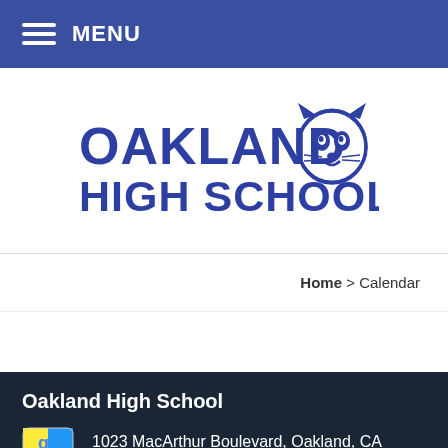MENU
[Figure (logo): Oakland High School logo with wildcat mascot, text reads OAKLAND HIGH SCHOOL in blue]
Home > Calendar
Oakland High School
1023 MacArthur Boulevard, Oakland, CA 94610